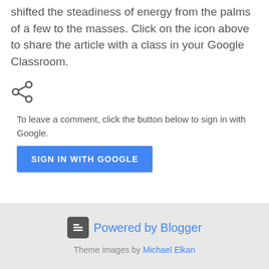shifted the steadiness of energy from the palms of a few to the masses. Click on the icon above to share the article with a class in your Google Classroom.
[Figure (other): Share icon (less-than style arrow icon for sharing)]
To leave a comment, click the button below to sign in with Google.
[Figure (other): SIGN IN WITH GOOGLE button (blue rectangle with white uppercase text)]
Powered by Blogger
Theme images by Michael Elkan